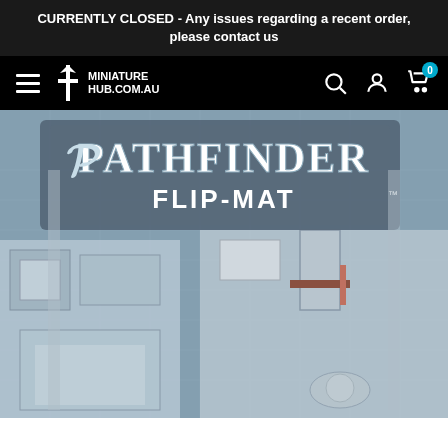CURRENTLY CLOSED - Any issues regarding a recent order, please contact us
[Figure (logo): Miniature Hub .com.au logo with navigation bar including hamburger menu, search, account, and cart icons on black background]
[Figure (photo): Pathfinder Flip-Mat product image showing a fantasy tabletop gaming map with dungeon/town layout in blue-grey tones with the Pathfinder Flip-Mat logo overlaid at top]